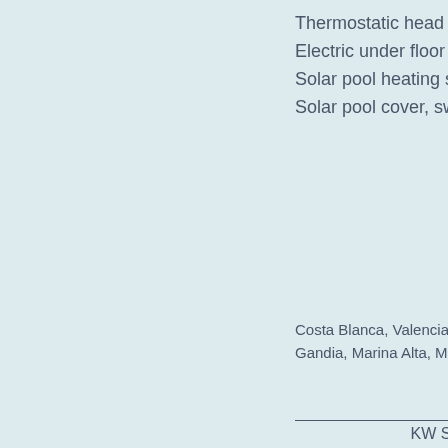Thermostatic head for radia...
Electric under floor heating,...
Solar pool heating system, s...
Solar pool cover, swimming...
Costa Blanca, Valencia, Denia, Jave...
Gandia, Marina Alta, Marina Baja, Al...
KW Solar, S.L. - Ctra. N...
A...